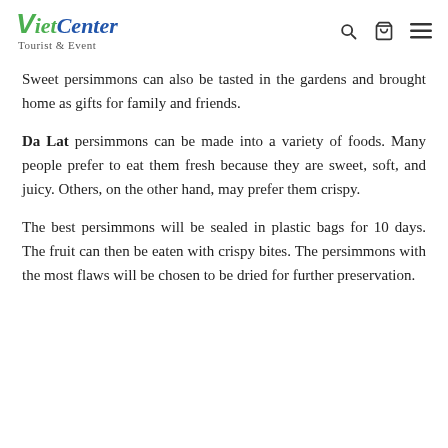VietCenter Tourist & Event
Sweet persimmons can also be tasted in the gardens and brought home as gifts for family and friends.
Da Lat persimmons can be made into a variety of foods. Many people prefer to eat them fresh because they are sweet, soft, and juicy. Others, on the other hand, may prefer them crispy.
The best persimmons will be sealed in plastic bags for 10 days. The fruit can then be eaten with crispy bites. The persimmons with the most flaws will be chosen to be dried for further preservation.